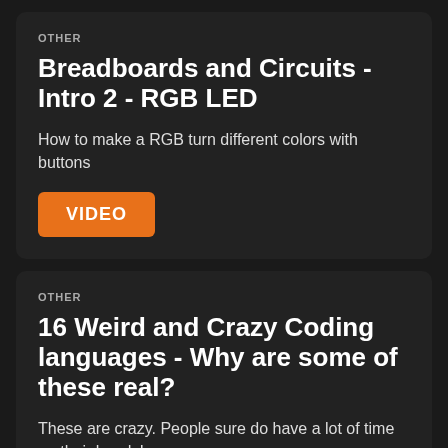OTHER
Breadboards and Circuits - Intro 2 - RGB LED
How to make a RGB turn different colors with buttons
[Figure (other): Orange button labeled VIDEO]
OTHER
16 Weird and Crazy Coding languages - Why are some of these real?
These are crazy. People sure do have a lot of time on their hands!